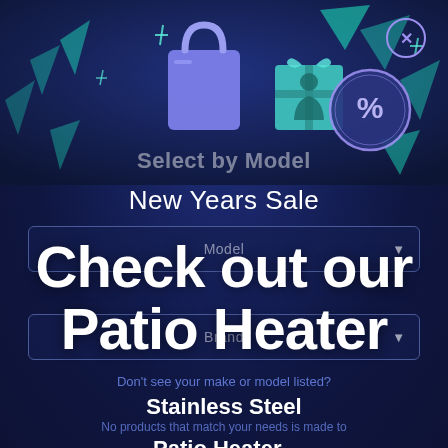[Figure (illustration): Dark navy blue background with 3D animated shopping bag, gift box, and percentage discount badge floating with sparkles and geometric shapes — a promotional popup illustration for a New Years Sale]
Select by Model
New Years Sale
Check out our Patio Heater
Model
Brand
Don't see your make or model listed?
Stainless Steel
No products that match your needs is made to
Patio Heater -